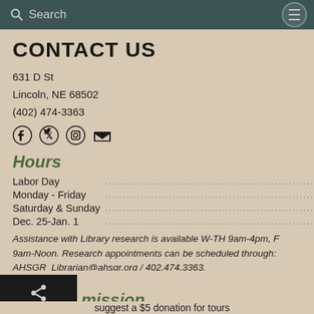Search
CONTACT US
631 D St
Lincoln, NE 68502
(402) 474-3363
[Figure (infographic): Social media icons: Facebook, Twitter, Instagram, Email]
Hours
| Day | Hours |
| --- | --- |
| Labor Day | Closed September 5th |
| Monday - Friday | 9am-4pm |
| Saturday & Sunday | Closed |
| Dec. 25-Jan. 1 | Closed |
Assistance with Library research is available W-TH 9am-4pm, F 9am-Noon. Research appointments can be scheduled through: AHSGR_Librarian@ahsgr.org / 402.474.3363.
mission
suggest a $5 donation for tours